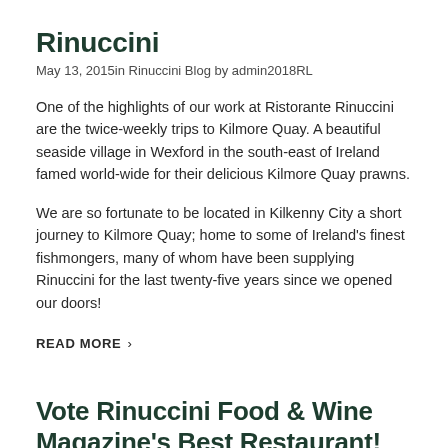Rinuccini
May 13, 2015in Rinuccini Blog by admin2018RL
One of the highlights of our work at Ristorante Rinuccini are the twice-weekly trips to Kilmore Quay. A beautiful seaside village in Wexford in the south-east of Ireland famed world-wide for their delicious Kilmore Quay prawns.
We are so fortunate to be located in Kilkenny City a short journey to Kilmore Quay; home to some of Ireland's finest fishmongers, many of whom have been supplying Rinuccini for the last twenty-five years since we opened our doors!
READ MORE >
Vote Rinuccini Food & Wine Magazine's Best Restaurant!
May 13, 2015in Rinuccini Blog by admin2018RL